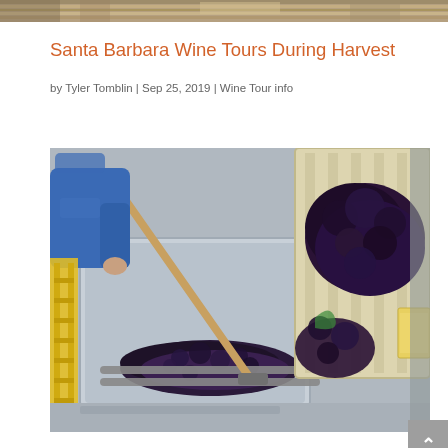[Figure (photo): Top partial photo strip showing what appears to be a vineyard or crop rows from above, partially cropped at the top of the page.]
Santa Barbara Wine Tours During Harvest
by Tyler Tomblin | Sep 25, 2019 | Wine Tour info
[Figure (photo): Photo of a winery worker in a blue sweatshirt using a long-handled tool to push harvested dark grapes (appears to be red wine grapes) along a stainless steel receiving trough. A large bin of grapes is visible being emptied. A yellow ladder is visible on the left side.]